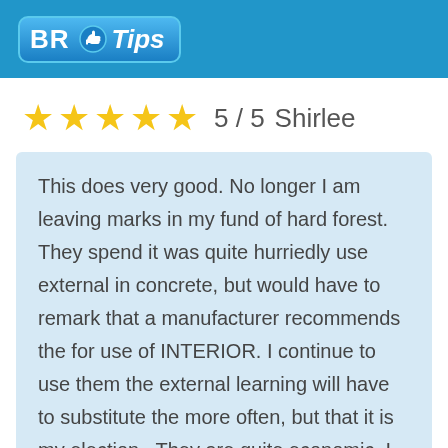BR Tips
5 / 5  Shirlee
This does very good. No longer I am leaving marks in my fund of hard forest. They spend it was quite hurriedly use external in concrete, but would have to remark that a manufacturer recommends the for use of INTERIOR. I continue to use them the external learning will have to substitute the more often, but that it is my election . They are quite economic. I also like a variety of colours. There is is trace ones on during October for Awareness of Cancer del Corazn, but the